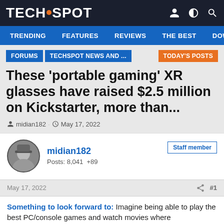TECHSPOT
TRENDING  FEATURES  REVIEWS  THE BEST  DOWNLC
FORUMS  TECHSPOT NEWS AND ...  TODAY'S POSTS
These 'portable gaming' XR glasses have raised $2.5 million on Kickstarter, more than...
midian182 · May 17, 2022
midian182
Posts: 8,041  +89
Staff member
May 17, 2022  #1
Something to look forward to: Imagine being able to play the best PC/console games and watch movies where